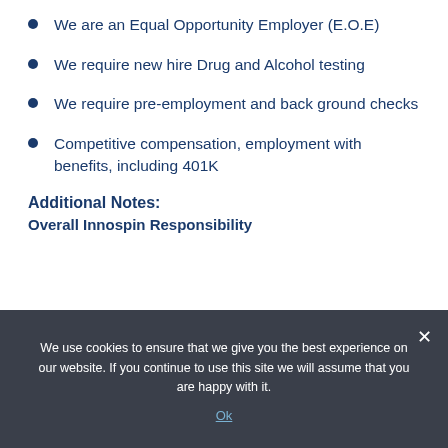We are an Equal Opportunity Employer (E.O.E)
We require new hire Drug and Alcohol testing
We require pre-employment and back ground checks
Competitive compensation, employment with benefits, including 401K
Additional Notes:
Overall Innospin Responsibility
We use cookies to ensure that we give you the best experience on our website. If you continue to use this site we will assume that you are happy with it.